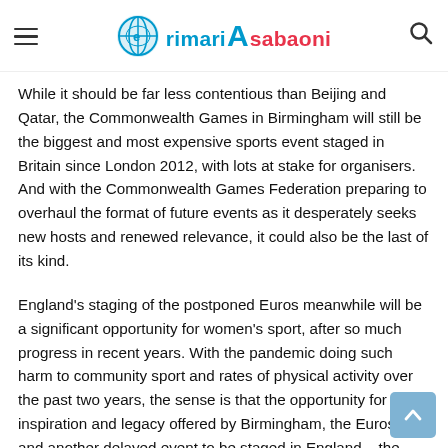rimari Asabaoni
While it should be far less contentious than Beijing and Qatar, the Commonwealth Games in Birmingham will still be the biggest and most expensive sports event staged in Britain since London 2012, with lots at stake for organisers. And with the Commonwealth Games Federation preparing to overhaul the format of future events as it desperately seeks new hosts and renewed relevance, it could also be the last of its kind.
England's staging of the postponed Euros meanwhile will be a significant opportunity for women's sport, after so much progress in recent years. With the pandemic doing such harm to community sport and rates of physical activity over the past two years, the sense is that the opportunity for inspiration and legacy offered by Birmingham, the Euros – and another delayed event to be staged in England – the Rugby League World Cup – must be seized.